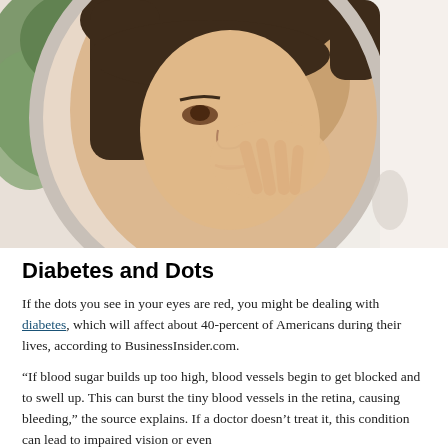[Figure (photo): A woman with dark hair and bangs looking at her reflection in a round mirror, touching her face near her eye. Green plant leaves visible in background on the left.]
Diabetes and Dots
If the dots you see in your eyes are red, you might be dealing with diabetes, which will affect about 40-percent of Americans during their lives, according to BusinessInsider.com.
“If blood sugar builds up too high, blood vessels begin to get blocked and to swell up. This can burst the tiny blood vessels in the retina, causing bleeding,” the source explains. If a doctor doesn’t treat it, this condition can lead to impaired vision or even